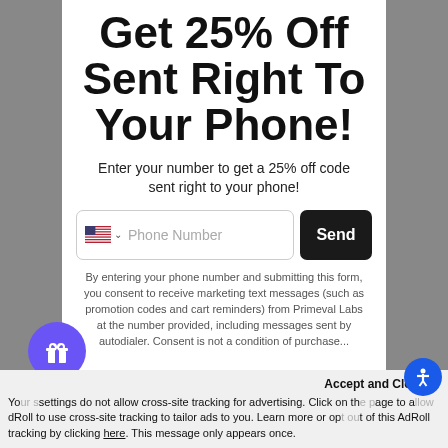Get 25% Off Sent Right To Your Phone!
Enter your number to get a 25% off code sent right to your phone!
Phone Number | Send
By entering your phone number and submitting this form, you consent to receive marketing text messages (such as promotion codes and cart reminders) from Primeval Labs at the number provided, including messages sent by autodialer. Consent is not a condition of purchase...
Accept and Close ✕
Your settings do not allow cross-site tracking for advertising. Click on the page to allow AdRoll to use cross-site tracking to tailor ads to you. Learn more or opt out of this AdRoll tracking by clicking here. This message only appears once.